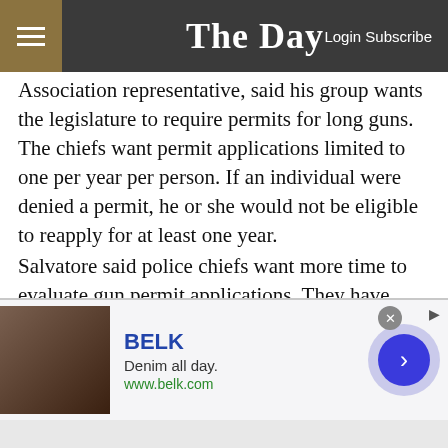The Day — Login Subscribe
Association representative, said his group wants the legislature to require permits for long guns. The chiefs want permit applications limited to one per year per person. If an individual were denied a permit, he or she would not be eligible to reapply for at least one year.
Salvatore said police chiefs want more time to evaluate gun permit applications. They have eight weeks to issue a permit under current law and would like to have 12 weeks for more time to get fingerprints back from the state and federal governments, he said.
[Figure (other): BELK advertisement banner showing denim clothing with text 'BELK', 'Denim all day.', 'www.belk.com']